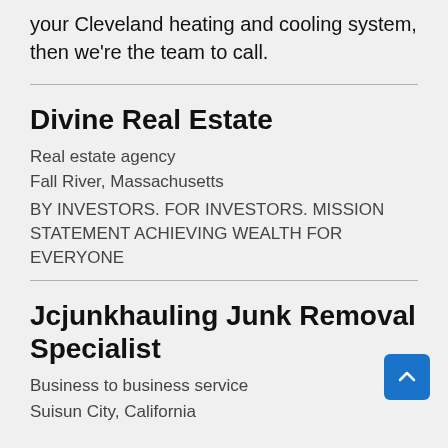your Cleveland heating and cooling system, then we're the team to call.
Divine Real Estate
Real estate agency
Fall River, Massachusetts
BY INVESTORS. FOR INVESTORS. MISSION STATEMENT ACHIEVING WEALTH FOR EVERYONE
Jcjunkhauling Junk Removal Specialist
Business to business service
Suisun City, California